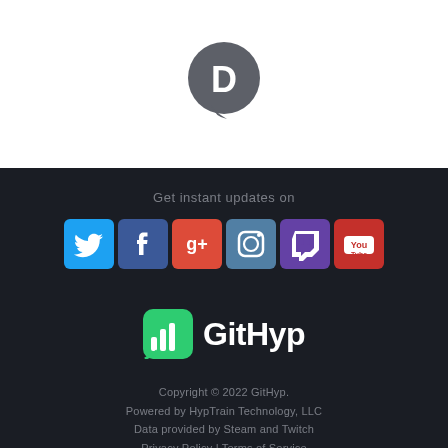[Figure (logo): Disqus logo: dark gray circular speech bubble with white letter D]
Get instant updates on
[Figure (illustration): Row of six social media icons: Twitter (blue bird), Facebook (dark blue f), Google+ (red G+), Instagram (gray camera), Twitch (purple), YouTube (red)]
[Figure (logo): GitHyp logo: green rounded square with white bar chart icon beside bold white text GitHyp]
Copyright © 2022 GitHyp.
Powered by HypTrain Technology, LLC
Data provided by Steam and Twitch
Privacy Policy | Terms of Service